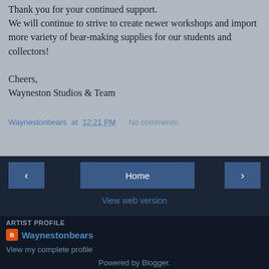Thank you for your continued support.
We will continue to strive to create newer workshops and import more variety of bear-making supplies for our students and collectors!
Cheers,
Wayneston Studios & Team
Waynestonbears at 12:21 PM   No comments:
[Figure (screenshot): Navigation bar with previous arrow button, Home button, and next arrow button on dark navy background]
View web version
ARTIST PROFILE
Waynestonbears
View my complete profile
Powered by Blogger.